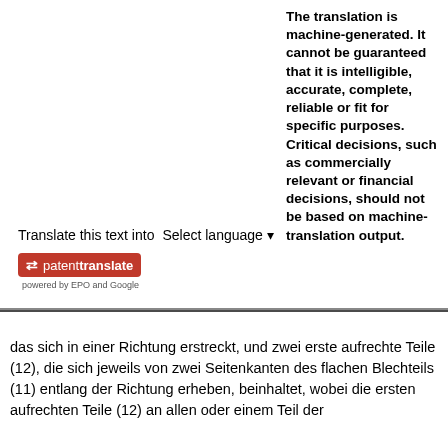The translation is machine-generated. It cannot be guaranteed that it is intelligible, accurate, complete, reliable or fit for specific purposes. Critical decisions, such as commercially relevant or financial decisions, should not be based on machine-translation output.
Translate this text into
[Figure (logo): PatentTranslate logo badge - red background with white arrow icon and 'patenttranslate' text, powered by EPO and Google]
das sich in einer Richtung erstreckt, und zwei erste aufrechte Teile (12), die sich jeweils von zwei Seitenkanten des flachen Blechteils (11) entlang der Richtung erheben, beinhaltet, wobei die ersten aufrechten Teile (12) an allen oder einem Teil der